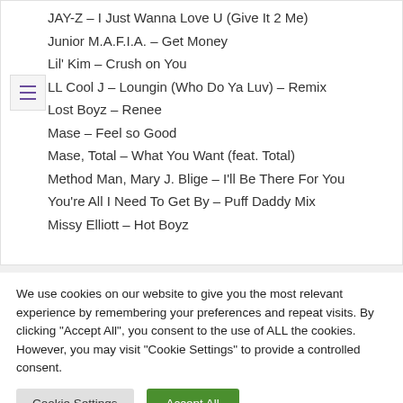JAY-Z – I Just Wanna Love U (Give It 2 Me)
Junior M.A.F.I.A. – Get Money
Lil' Kim – Crush on You
LL Cool J – Loungin (Who Do Ya Luv) – Remix
Lost Boyz – Renee
Mase – Feel so Good
Mase, Total – What You Want (feat. Total)
Method Man, Mary J. Blige – I'll Be There For You You're All I Need To Get By – Puff Daddy Mix
Missy Elliott – Hot Boyz
We use cookies on our website to give you the most relevant experience by remembering your preferences and repeat visits. By clicking "Accept All", you consent to the use of ALL the cookies. However, you may visit "Cookie Settings" to provide a controlled consent.